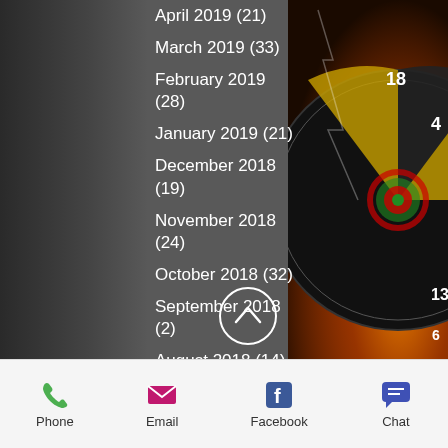April 2019 (21)
March 2019 (33)
February 2019 (28)
January 2019 (21)
December 2018 (19)
November 2018 (24)
October 2018 (32)
September 2018 (2)
August 2018 (14)
July 2018 (20)
June 2018 (20)
May 2018 (20)
April 2018 (25)
March 2018 (31)
February 2018 (22)
January 2018 (29)
December 2017 (16)
November 2017 (33)
Phone  Email  Facebook  Chat